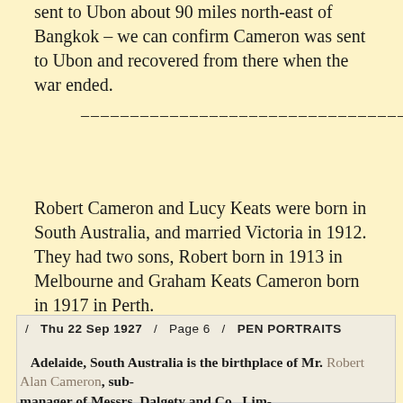sent to Ubon about 90 miles north-east of Bangkok – we can confirm Cameron was sent to Ubon and recovered from there when the war ended.
–––––––––––––––––––––––––––––––
Robert Cameron and Lucy Keats were born in South Australia, and married Victoria in 1912. They had two sons, Robert born in 1913 in Melbourne and Graham Keats Cameron born in 1917 in Perth.
Robert Alan Cameron was appointed to work at Dalgetys, Perth Office.
/ Thu 22 Sep 1927 / Page 6 / PEN PORTRAITS
Adelaide, South Australia is the birthplace of Mr. Robert Alan Cameron, sub-manager of Messrs. Dalgety and Co., Limited, and second vice-president of the